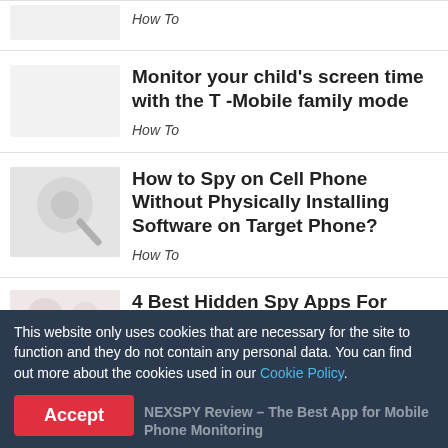How To
Monitor your child's screen time with the T -Mobile family mode
How To
[Figure (illustration): Decorative thumbnail image with light gray spy-themed illustration]
How to Spy on Cell Phone Without Physically Installing Software on Target Phone?
How To
[Figure (illustration): Decorative thumbnail with light pink/red toned illustration]
4 Best Hidden Spy Apps For Android In 2021
NEXSPY Review – The Best App for Mobile Phone Monitoring
This website only uses cookies that are necessary for the site to function and they do not contain any personal data. You can find out more about the cookies used in our Cookie Policy.
Accept